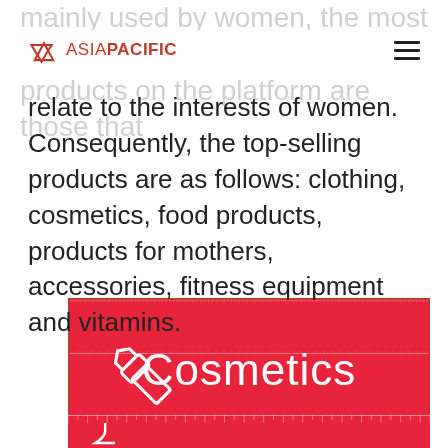ASIA PACIFIC
mainly used by women, the most popular products on the platform are those that relate to the interests of women. Consequently, the top-selling products are as follows: clothing, cosmetics, food products, products for mothers, accessories, fitness equipment and vitamins.
[Figure (illustration): Red banner with lipstick icon and text 'Cosmetics' in white on a red background with ruler/texture border effect]
[Figure (illustration): Partial red banner at bottom with icon, partially visible]